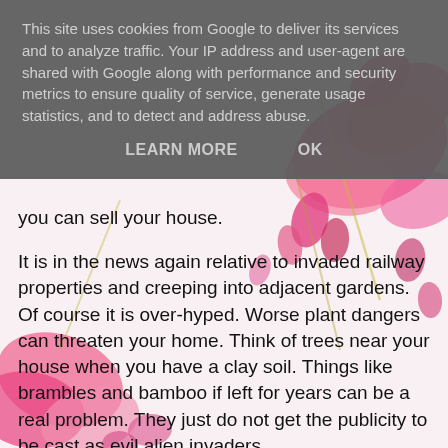This site uses cookies from Google to deliver its services and to analyze traffic. Your IP address and user-agent are shared with Google along with performance and security metrics to ensure quality of service, generate usage statistics, and to detect and address abuse.
LEARN MORE    OK
[Figure (photo): Pink bleeding heart flowers (Lamprocapnos spectabilis) on a white background, visible behind and around the text content]
you can sell your house.
It is in the news again relative to invaded railway properties and creeping into adjacent gardens. Of course it is over-hyped. Worse plant dangers can threaten your home. Think of trees near your house when you have a clay soil. Things like brambles and bamboo if left for years can be a real problem. They just do not get the publicity to be cast as evil alien invaders.
It is a perfect storm. A whole industry exists to extract